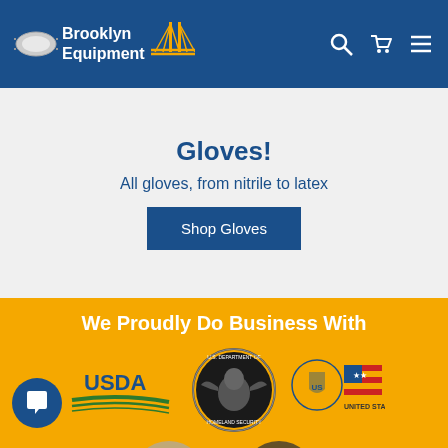Brooklyn Equipment
Gloves!
All gloves, from nitrile to latex
Shop Gloves
We Proudly Do Business With
[Figure (logo): USDA logo]
[Figure (logo): U.S. Department of Homeland Security seal]
[Figure (logo): United States Mint logo]
[Figure (logo): Partial logos of additional government agencies at bottom]